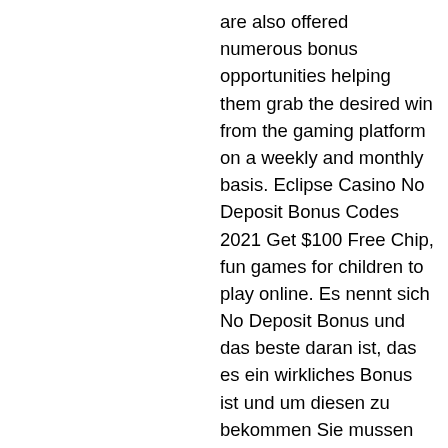are also offered numerous bonus opportunities helping them grab the desired win from the gaming platform on a weekly and monthly basis. Eclipse Casino No Deposit Bonus Codes 2021 Get $100 Free Chip, fun games for children to play online. Es nennt sich No Deposit Bonus und das beste daran ist, das es ein wirkliches Bonus ist und um diesen zu bekommen Sie mussen gar keine Einzahlungen tatigen, ein Bonus, der es einem erlaubt, echte Casino Spiele gratis zu spielen. Es ist nicht verwunderlich, dass viele Spieler sich dazu entscheiden, bei JackpotCity zu spielen, fun games for children to play online. It's a straightforward, hassle-free experience overall and the customer service team is there to help if you need them at any stage. And if you want to check some other attractive offers besides this one with the Europe Casino